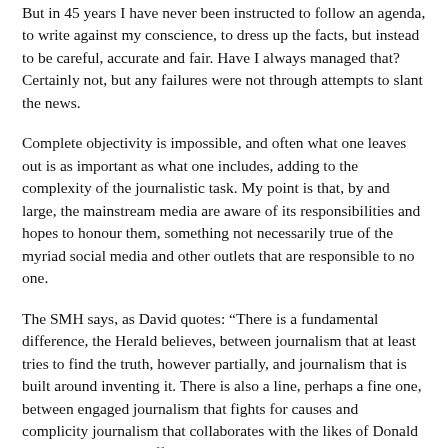But in 45 years I have never been instructed to follow an agenda, to write against my conscience, to dress up the facts, but instead to be careful, accurate and fair. Have I always managed that? Certainly not, but any failures were not through attempts to slant the news.
Complete objectivity is impossible, and often what one leaves out is as important as what one includes, adding to the complexity of the journalistic task. My point is that, by and large, the mainstream media are aware of its responsibilities and hopes to honour them, something not necessarily true of the myriad social media and other outlets that are responsible to no one.
The SMH says, as David quotes: “There is a fundamental difference, the Herald believes, between journalism that at least tries to find the truth, however partially, and journalism that is built around inventing it. There is also a line, perhaps a fine one, between engaged journalism that fights for causes and complicity journalism that collaborates with the likes of Donald Trump.” I say, that difference exists and is essential.
Mainstream media does seem to have become more polarised. David says the SMH has lurched to the left; on left-wing sites I have visited, most seem to think that under new ownership chaired by former Liberal Treasurer Peter Costello it has swung to the right. I agree that there are fewer articles presenting opposing points of view, and that this is a problem.